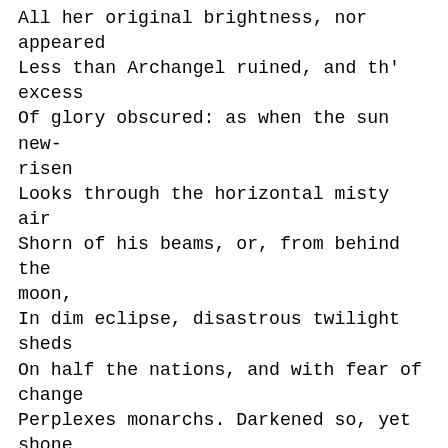All her original brightness, nor appeared
Less than Archangel ruined, and th'
excess
Of glory obscured: as when the sun new-
risen
Looks through the horizontal misty air
Shorn of his beams, or, from behind the
moon,
In dim eclipse, disastrous twilight sheds
On half the nations, and with fear of
change
Perplexes monarchs. Darkened so, yet
shone
Above them all th' Archangel: but his
face
Deep scars of thunder had intrenched, and
care
Sat on his faded cheek, but under brows
Of dauntless courage, and considerate
pride
Waiting revenge. Cruel his eye, but cast
Signs of remorse and passion, to behold
The fellows of his crime, the followers
rather
(Far other once beheld in bliss),
condemned